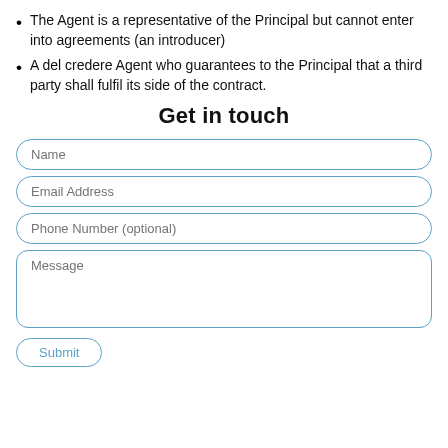The Agent is a representative of the Principal but cannot enter into agreements (an introducer)
A del credere Agent who guarantees to the Principal that a third party shall fulfil its side of the contract.
Get in touch
[Figure (other): A contact form with fields for Name, Email Address, Phone Number (optional), Message, and a Submit button, styled with rounded borders in blue.]